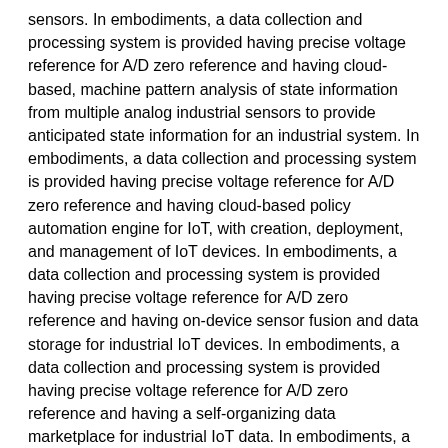sensors. In embodiments, a data collection and processing system is provided having precise voltage reference for A/D zero reference and having cloud-based, machine pattern analysis of state information from multiple analog industrial sensors to provide anticipated state information for an industrial system. In embodiments, a data collection and processing system is provided having precise voltage reference for A/D zero reference and having cloud-based policy automation engine for IoT, with creation, deployment, and management of IoT devices. In embodiments, a data collection and processing system is provided having precise voltage reference for A/D zero reference and having on-device sensor fusion and data storage for industrial IoT devices. In embodiments, a data collection and processing system is provided having precise voltage reference for A/D zero reference and having a self-organizing data marketplace for industrial IoT data. In embodiments, a data collection and processing system is provided having precise voltage reference for A/D zero reference and having self-organization of data pools based on utilization and/or yield metrics. In embodiments, a data